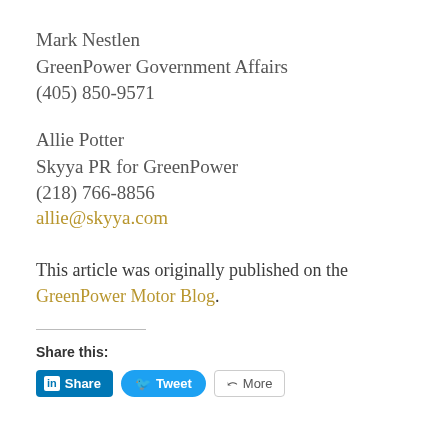Mark Nestlen
GreenPower Government Affairs
(405) 850-9571
Allie Potter
Skyya PR for GreenPower
(218) 766-8856
allie@skyya.com
This article was originally published on the GreenPower Motor Blog.
Share this:
Share   Tweet   More